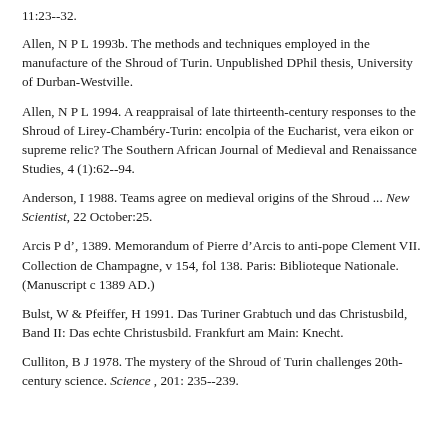11:23--32.
Allen, N P L 1993b. The methods and techniques employed in the manufacture of the Shroud of Turin. Unpublished DPhil thesis, University of Durban-Westville.
Allen, N P L 1994. A reappraisal of late thirteenth-century responses to the Shroud of Lirey-Chambéry-Turin: encolpia of the Eucharist, vera eikon or supreme relic? The Southern African Journal of Medieval and Renaissance Studies, 4 (1):62--94.
Anderson, I 1988. Teams agree on medieval origins of the Shroud ... New Scientist, 22 October:25.
Arcis P d', 1389. Memorandum of Pierre d'Arcis to anti-pope Clement VII. Collection de Champagne, v 154, fol 138. Paris: Biblioteque Nationale. (Manuscript c 1389 AD.)
Bulst, W & Pfeiffer, H 1991. Das Turiner Grabtuch und das Christusbild, Band II: Das echte Christusbild. Frankfurt am Main: Knecht.
Culliton, B J 1978. The mystery of the Shroud of Turin challenges 20th-century science. Science , 201: 235--239.